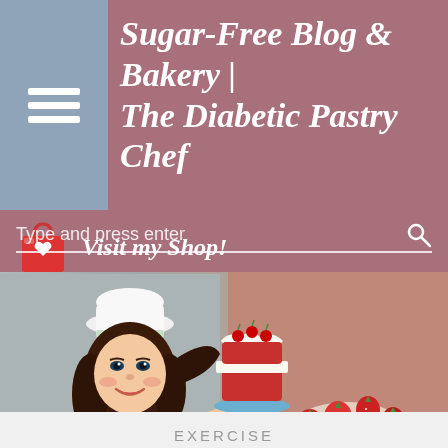Sugar-Free Blog & Bakery | The Diabetic Pastry Chef
Visit my Shop!
Type and press enter
[Figure (illustration): Cartoon female pastry chef in white uniform and toque hat, holding a decorated cake with red layers and strawberries. Background shows blurred strawberry desserts.]
EXERCISE